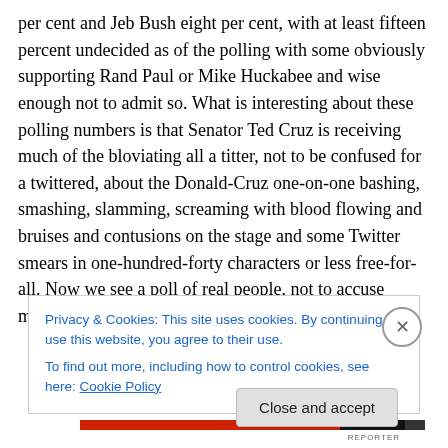per cent and Jeb Bush eight per cent, with at least fifteen percent undecided as of the polling with some obviously supporting Rand Paul or Mike Huckabee and wise enough not to admit so. What is interesting about these polling numbers is that Senator Ted Cruz is receiving much of the bloviating all a titter, not to be confused for a twittered, about the Donald-Cruz one-on-one bashing, smashing, slamming, screaming with blood flowing and bruises and contusions on the stage and some Twitter smears in one-hundred-forty characters or less free-for-all. Now we see a poll of real people, not to accuse media personnel as
Privacy & Cookies: This site uses cookies. By continuing to use this website, you agree to their use.
To find out more, including how to control cookies, see here: Cookie Policy
Close and accept